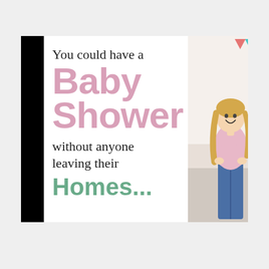[Figure (infographic): Promotional image for virtual baby shower. Left side has white background with text: 'You could have a Baby Shower without anyone leaving their Homes...' in mixed black, pink, and green bold fonts. Right side shows a photo of a smiling pregnant woman with blonde hair wearing a pink shirt and jeans, standing in front of a room with colorful bunting. Black bars on far left and right edges of the image.]